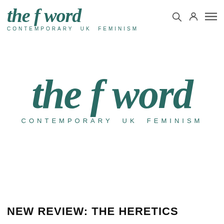the f word CONTEMPORARY UK FEMINISM
[Figure (logo): The F Word logo - large centered version with italic serif text 'the f word' in teal/dark green and subtitle 'CONTEMPORARY UK FEMINISM' in uppercase spaced letters below]
NEW REVIEW: THE HERETICS